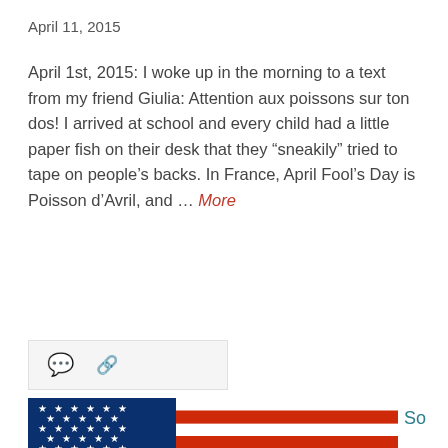April 11, 2015
April 1st, 2015: I woke up in the morning to a text from my friend Giulia: Attention aux poissons sur ton dos! I arrived at school and every child had a little paper fish on their desk that they “sneakily” tried to tape on people’s backs. In France, April Fool’s Day is Poisson d’Avril, and ... More
[Figure (other): Icons bar with comment bubble and link/share icons on light grey background]
[Figure (photo): Photograph of the United States flag waving, showing blue canton with white stars on the left and red and white stripes on the right]
So